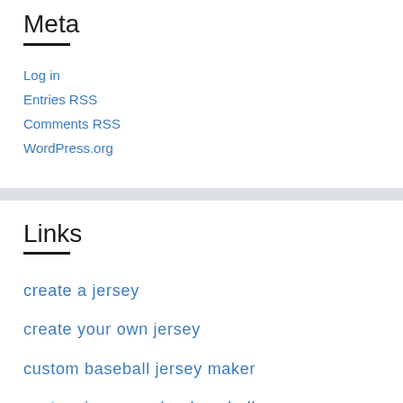Meta
Log in
Entries RSS
Comments RSS
WordPress.org
Links
create a jersey
create your own jersey
custom baseball jersey maker
custom jersey maker baseball